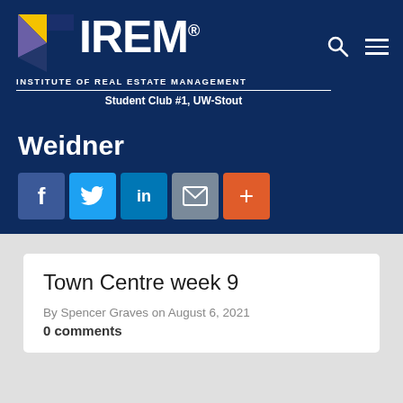[Figure (logo): IREM - Institute of Real Estate Management logo with colored geometric shapes and text 'Student Club #1, UW-Stout']
Weidner
[Figure (infographic): Social sharing buttons: Facebook, Twitter, LinkedIn, Email, More (+)]
Town Centre week 9
By Spencer Graves on August 6, 2021
0 comments